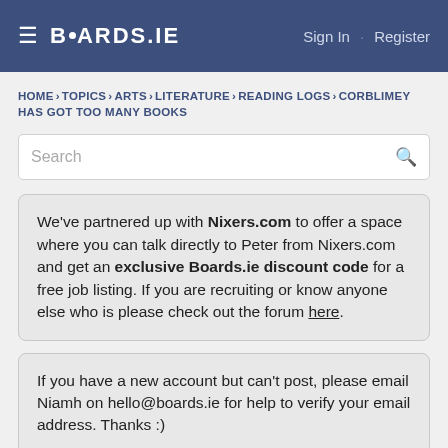BOARDS.IE  Sign In · Register
HOME › TOPICS › ARTS › LITERATURE › READING LOGS › CORBLIMEY HAS GOT TOO MANY BOOKS
Search
We've partnered up with Nixers.com to offer a space where you can talk directly to Peter from Nixers.com and get an exclusive Boards.ie discount code for a free job listing. If you are recruiting or know anyone else who is please check out the forum here.
If you have a new account but can't post, please email Niamh on hello@boards.ie for help to verify your email address. Thanks :)
Advertisement